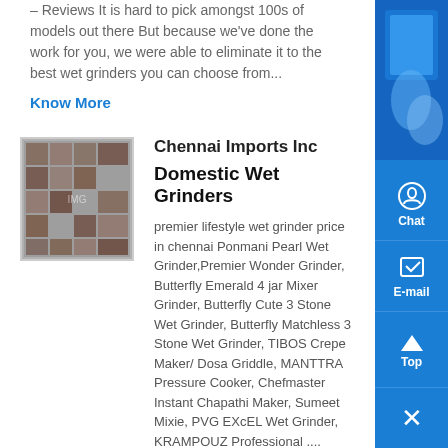– Reviews It is hard to pick amongst 100s of models out there But because we've done the work for you, we were able to eliminate it to the best wet grinders you can choose from...
Know More
[Figure (photo): Thumbnail image showing a tiled mosaic or stone surface]
Chennai Imports Inc
Domestic Wet Grinders
premier lifestyle wet grinder price in chennai Ponmani Pearl Wet Grinder,Premier Wonder Grinder, Butterfly Emerald 4 jar Mixer Grinder, Butterfly Cute 3 Stone Wet Grinder, Butterfly Matchless 3 Stone Wet Grinder, TIBOS Crepe Maker/ Dosa Griddle, MANTTRA Pressure Cooker, Chefmaster Instant Chapathi Maker, Sumeet Mixie, PVG EXcEL Wet Grinder, KRAMPOUZ Professional ....
Know More